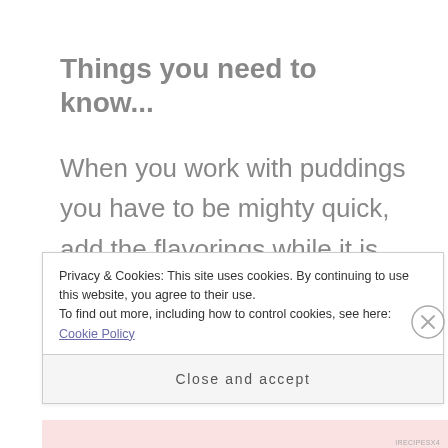Things you need to know...
When you work with puddings you have to be mighty quick, add the flavorings while it is warm since the pudding sets so quickly.
Privacy & Cookies: This site uses cookies. By continuing to use this website, you agree to their use.
To find out more, including how to control cookies, see here: Cookie Policy
Close and accept